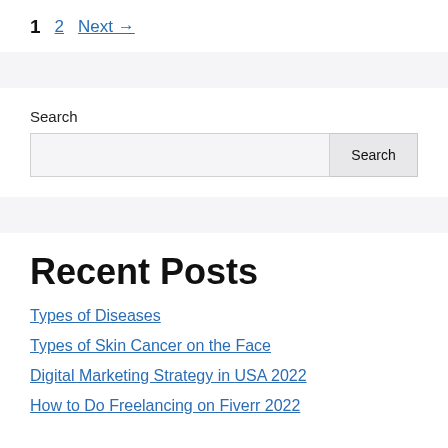1  2  Next →
Search
Recent Posts
Types of Diseases
Types of Skin Cancer on the Face
Digital Marketing Strategy in USA 2022
How to Do Freelancing on Fiverr 2022